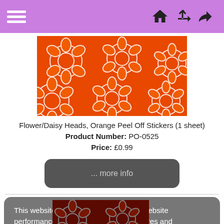Navigation header with hamburger menu and icons
[Figure (photo): Orange background with white-outlined daisy/flower heads pattern (peel off sticker sheet)]
Flower/Daisy Heads, Orange Peel Off Stickers (1 sheet)
Product Number: PO-0525
Price: £0.99
... more info
This website uses cookies to measure website performance, provide social media features and personalise content and ads. Learn more
Got it!
[Figure (photo): Dark maroon/red background with outline daisy/flower heads pattern sticker sheet with golden tones at bottom]